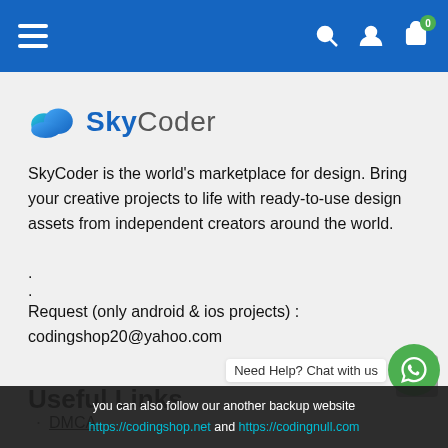[Figure (screenshot): Blue navigation bar with hamburger menu on left, search, user, and cart icons on right with badge showing 0]
[Figure (logo): SkyCoder logo: blue cloud icon with SkyCoder text]
SkyCoder is the world’s marketplace for design. Bring your creative projects to life with ready-to-use design assets from independent creators around the world.
.
.
Request (only android & ios projects) :
codingshop20@yahoo.com
Useful Links
DMCA
[Figure (screenshot): Gray scroll-to-top button (chevron up)]
Need Help? Chat with us
you can also follow our another backup website
https://codingshop.net and https://codingnull.com